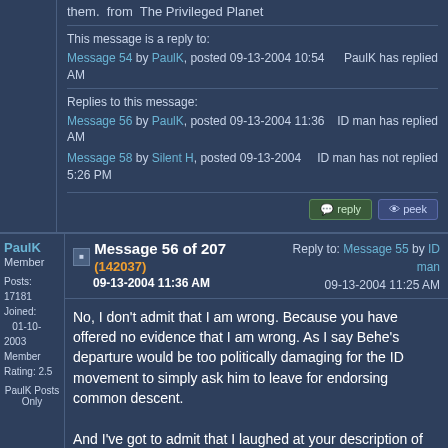them. from The Privileged Planet
This message is a reply to:
Message 54 by PaulK, posted 09-13-2004 10:54 AM — PaulK has replied
Replies to this message:
Message 56 by PaulK, posted 09-13-2004 11:36 AM — ID man has replied
Message 58 by Silent H, posted 09-13-2004 5:26 PM — ID man has not replied
PaulK Member Posts: 17181 Joined: 01-10-2003 Member Rating: 2.5 PaulK Posts Only
Message 56 of 207 (142037) 09-13-2004 11:36 AM Reply to: Message 55 by ID man 09-13-2004 11:25 AM
No, I don't admit that I am wrong. Because you have offered no evidence that I am wrong. As I say Behe's departure would be too politically damaging for the ID movement to simply ask him to leave for endorsing common descent.
And I've got to admit that I laughed at your description of ID. No, ID is all about